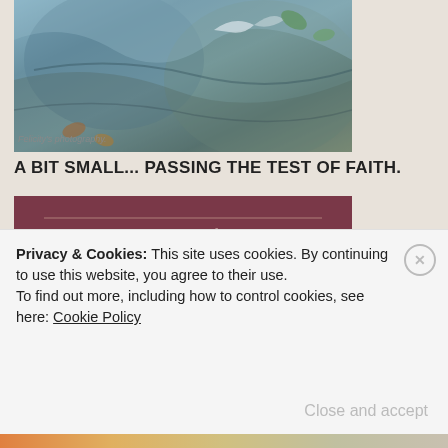[Figure (photo): Close-up photo of layered rock or stone surface with blue-grey coloring and autumn leaves, partial view of a bird (heron or crane)]
Felicity's photography.
A BIT SMALL... PASSING THE TEST OF FAITH.
[Figure (photo): Photo of a dark reddish-brown information sign board for 'Tainai Kuguri Test of Faith' with Japanese text and a map diagram showing the cave path]
Privacy & Cookies: This site uses cookies. By continuing to use this website, you agree to their use.
To find out more, including how to control cookies, see here: Cookie Policy
Close and accept